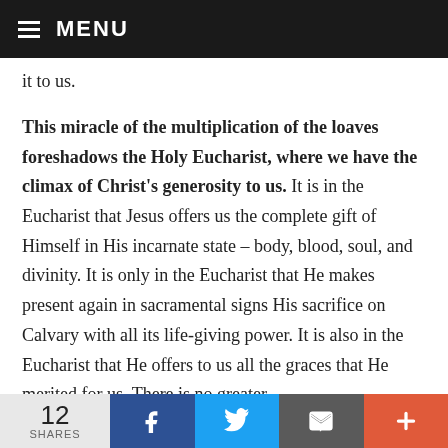MENU
it to us.
This miracle of the multiplication of the loaves foreshadows the Holy Eucharist, where we have the climax of Christ's generosity to us. It is in the Eucharist that Jesus offers us the complete gift of Himself in His incarnate state – body, blood, soul, and divinity. It is only in the Eucharist that He makes present again in sacramental signs His sacrifice on Calvary with all its life-giving power. It is also in the Eucharist that He offers to us all the graces that He merited for us. There is no greater
12 SHARES